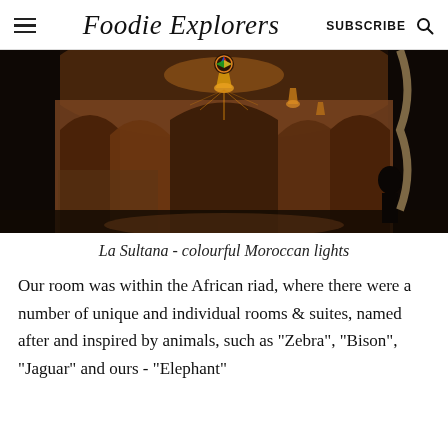Foodie Explorers | SUBSCRIBE
[Figure (photo): Interior of La Sultana hotel showing a Moroccan riad with ornate arches, colourful hanging lanterns and warm ambient lighting]
La Sultana - colourful Moroccan lights
Our room was within the African riad, where there were a number of unique and individual rooms & suites, named after and inspired by animals, such as "Zebra", "Bison", "Jaguar" and ours - "Elephant"